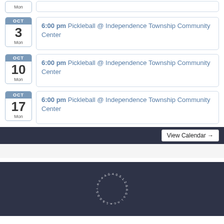Mon (partial top, cut off)
OCT 3 Mon — 6:00 pm Pickleball @ Independence Township Community Center
OCT 10 Mon — 6:00 pm Pickleball @ Independence Township Community Center
OCT 17 Mon — 6:00 pm Pickleball @ Independence Township Community Center
View Calendar →
[Figure (logo): Circular text logo in white on dark navy background, text arranged in a circle]